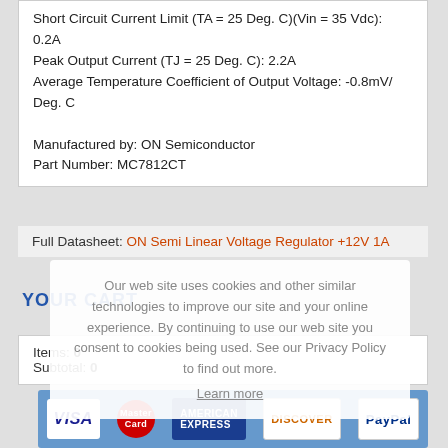Short Circuit Current Limit (TA = 25 Deg. C)(Vin = 35 Vdc): 0.2A
Peak Output Current (TJ = 25 Deg. C): 2.2A
Average Temperature Coefficient of Output Voltage: -0.8mV/ Deg. C

Manufactured by: ON Semiconductor
Part Number: MC7812CT
Full Datasheet: ON Semi Linear Voltage Regulator +12V 1A
Our web site uses cookies and other similar technologies to improve our site and your online experience. By continuing to use our web site you consent to cookies being used. See our Privacy Policy to find out more.
Learn more
YOUR CART
Items: 0
Subtotal: 0
[Figure (other): Payment method logos: VISA, MasterCard, American Express, Discover, PayPal]